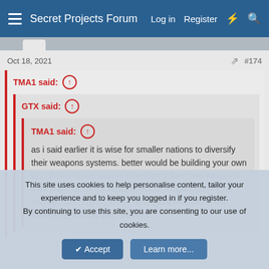Secret Projects Forum   Log in   Register
Oct 18, 2021   #174
TMA1 said:
GTX said:
TMA1 said:
as i said earlier it is wise for smaller nations to diversify their weapons systems. better would be building your own kit. I think India is wise in developing their own weapons. their major issue for Tejas is lack of indigenous engine and sensors. buying from French and Russian in the mean time as stop gap is smart.
This site uses cookies to help personalise content, tailor your experience and to keep you logged in if you register.
By continuing to use this site, you are consenting to our use of cookies.